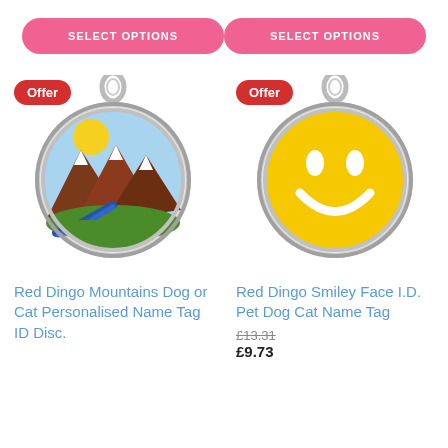SELECT OPTIONS
SELECT OPTIONS
[Figure (photo): Red Dingo Mountains dog or cat pet ID tag with mountain landscape, river, green fields and sun enamel design, silver rim, with 'Offer' badge]
[Figure (photo): Red Dingo Smiley Face yellow enamel pet ID tag with white smiley face design, silver rim, with 'Offer' badge]
Red Dingo Mountains Dog or Cat Personalised Name Tag ID Disc. Free Engraving
Red Dingo Smiley Face I.D. Pet Dog Cat Name Tag
£13.31
£9.73